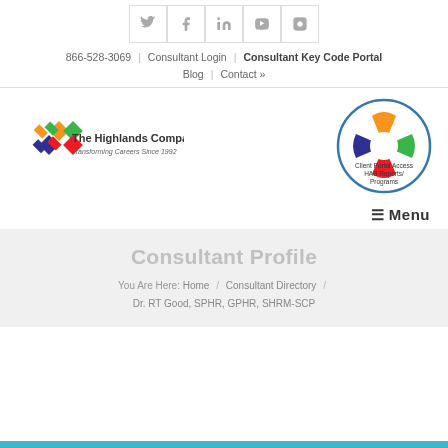[Figure (infographic): Social media icons: Twitter, Facebook, LinkedIn, Vimeo, Instagram in bordered boxes]
866-528-3069 | Consultant Login | Consultant Key Code Portal
Blog | Contact »
[Figure (logo): The Highlands Company logo - Transforming Careers Since 1992]
[Figure (logo): Client Portal Access HAB Reports/Programs circular logo with colorful pieces]
☰ Menu
Consultant Profile
You Are Here: Home / Consultant Directory / Dr. RT Good, SPHR, GPHR, SHRM-SCP